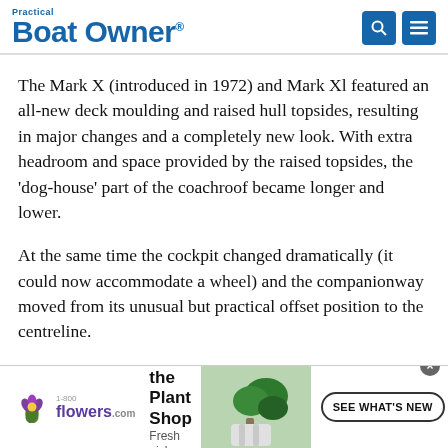Practical Boat Owner
The Mark X (introduced in 1972) and Mark Xl featured an all-new deck moulding and raised hull topsides, resulting in major changes and a completely new look. With extra headroom and space provided by the raised topsides, the 'dog-house' part of the coachroof became longer and lower.
At the same time the cockpit changed dramatically (it could now accommodate a wheel) and the companionway moved from its unusual but practical offset position to the centreline.
[Figure (infographic): 1-800-flowers.com advertisement banner: green plant image on right, logo and text 'Now in the Plant Shop / Fresh picks for summer', and a 'SEE WHAT'S NEW' button.]